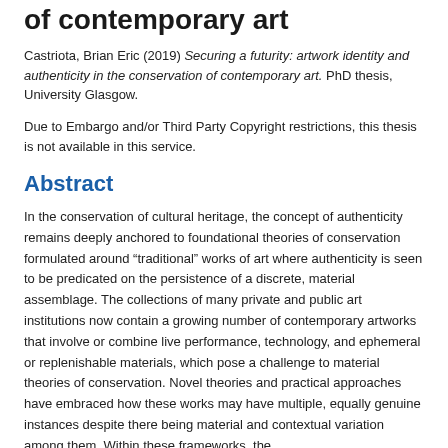of contemporary art
Castriota, Brian Eric (2019) Securing a futurity: artwork identity and authenticity in the conservation of contemporary art. PhD thesis, University Glasgow.
Due to Embargo and/or Third Party Copyright restrictions, this thesis is not available in this service.
Abstract
In the conservation of cultural heritage, the concept of authenticity remains deeply anchored to foundational theories of conservation formulated around “traditional” works of art where authenticity is seen to be predicated on the persistence of a discrete, material assemblage. The collections of many private and public art institutions now contain a growing number of contemporary artworks that involve or combine live performance, technology, and ephemeral or replenishable materials, which pose a challenge to material theories of conservation. Novel theories and practical approaches have embraced how these works may have multiple, equally genuine instances despite there being material and contextual variation among them. Within these frameworks, the